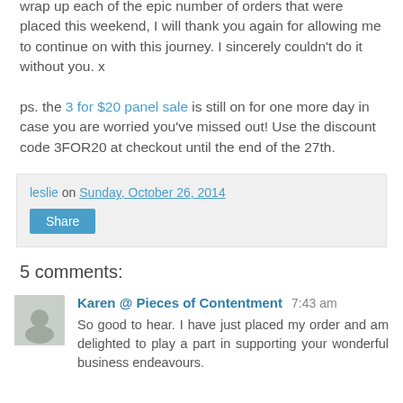wrap up each of the epic number of orders that were placed this weekend, I will thank you again for allowing me to continue on with this journey. I sincerely couldn't do it without you. x
ps. the 3 for $20 panel sale is still on for one more day in case you are worried you've missed out! Use the discount code 3FOR20 at checkout until the end of the 27th.
leslie on Sunday, October 26, 2014 [Share button]
5 comments:
Karen @ Pieces of Contentment 7:43 am
So good to hear. I have just placed my order and am delighted to play a part in supporting your wonderful business endeavours.